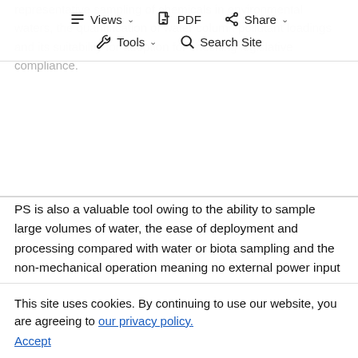representative sampling of chemicals in environmental waters, the quantification of water column pollutant loadings and its suitability for adoption for checking legislative compliance.
Views | PDF | Share | Tools | Search Site
PS is also a valuable tool owing to the ability to sample large volumes of water, the ease of deployment and processing compared with water or biota sampling and the non-mechanical operation meaning no external power input is required (Harman et al. 2012). PS have the ability to measure the freely dissolved fraction, or bioavailable fraction of a compound in water (Vrana et al. 2005; Smedes et al. 2010). This is a ...compound to organisms in the environment and directly applies to risk assessment as the freely
This site uses cookies. By continuing to use our website, you are agreeing to our privacy policy. Accept